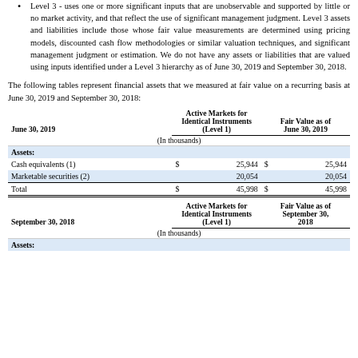Level 3 - uses one or more significant inputs that are unobservable and supported by little or no market activity, and that reflect the use of significant management judgment. Level 3 assets and liabilities include those whose fair value measurements are determined using pricing models, discounted cash flow methodologies or similar valuation techniques, and significant management judgment or estimation. We do not have any assets or liabilities that are valued using inputs identified under a Level 3 hierarchy as of June 30, 2019 and September 30, 2018.
The following tables represent financial assets that we measured at fair value on a recurring basis at June 30, 2019 and September 30, 2018:
| June 30, 2019 | Active Markets for Identical Instruments (Level 1) | Fair Value as of June 30, 2019 |
| --- | --- | --- |
| (In thousands) |  |  |
| Assets: |  |  |
| Cash equivalents (1) | $ 25,944 | $ 25,944 |
| Marketable securities (2) | 20,054 | 20,054 |
| Total | $ 45,998 | $ 45,998 |
| September 30, 2018 | Active Markets for Identical Instruments (Level 1) | Fair Value as of September 30, 2018 |
| --- | --- | --- |
| (In thousands) |  |  |
| Assets: |  |  |